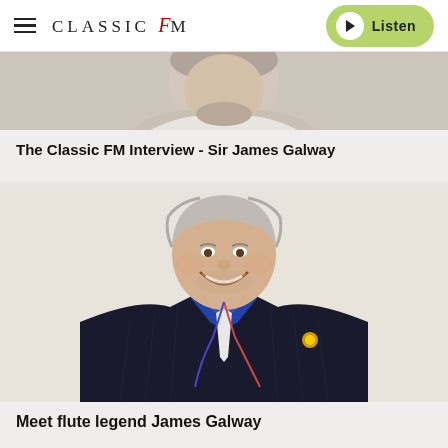CLASSIC FM — Listen
[Figure (photo): Partial view of a person's head and shoulders, cropped from above, grey hair and beard visible, wearing light jacket]
The Classic FM Interview - Sir James Galway
[Figure (photo): Sir James Galway smiling and laughing, wearing a dark pinstripe suit with blue shirt and white tie, grey/white hair]
Meet flute legend James Galway